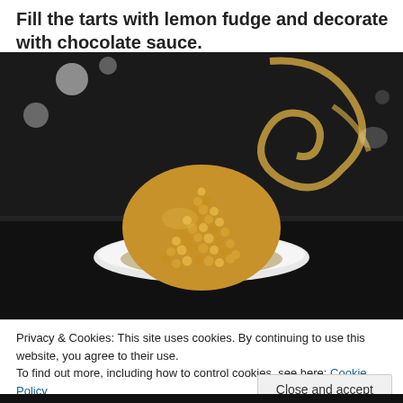Fill the tarts with lemon fudge and decorate with chocolate sauce.
[Figure (photo): A dessert tart covered in golden sugar pearls on a white plate, with a dark background featuring gold decorative swirls.]
Privacy & Cookies: This site uses cookies. By continuing to use this website, you agree to their use.
To find out more, including how to control cookies, see here: Cookie Policy
Close and accept